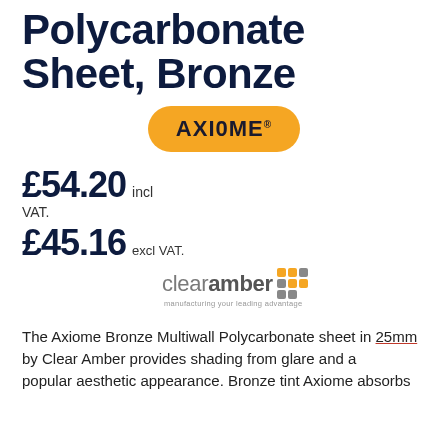25mm Polycarbonate Sheet, Bronze
[Figure (logo): Axiome brand badge - orange rounded rectangle with AXIOME text and registered trademark symbol]
£54.20 incl VAT.
£45.16 excl VAT.
[Figure (logo): Clear Amber Group logo with orange and grey dot grid and tagline 'manufacturing your leading advantage']
The Axiome Bronze Multiwall Polycarbonate sheet in 25mm by Clear Amber provides shading from glare and a popular aesthetic appearance. Bronze tint Axiome absorbs